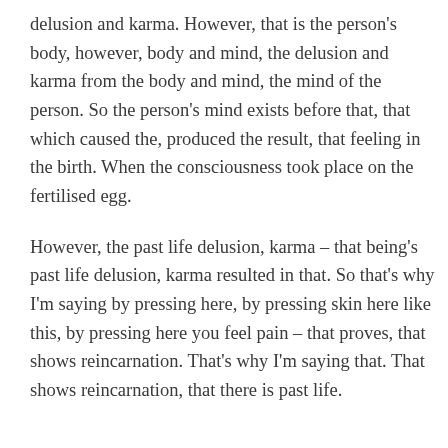delusion and karma. However, that is the person's body, however, body and mind, the delusion and karma from the body and mind, the mind of the person. So the person's mind exists before that, that which caused the, produced the result, that feeling in the birth. When the consciousness took place on the fertilised egg.
However, the past life delusion, karma – that being's past life delusion, karma resulted in that. So that's why I'm saying by pressing here, by pressing skin here like this, by pressing here you feel pain – that proves, that shows reincarnation. That's why I'm saying that. That shows reincarnation, that there is past life.